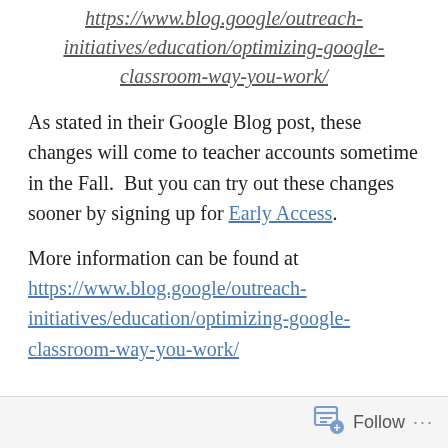https://www.blog.google/outreach-initiatives/education/optimizing-google-classroom-way-you-work/
As stated in their Google Blog post, these changes will come to teacher accounts sometime in the Fall.  But you can try out these changes sooner by signing up for Early Access.
More information can be found at https://www.blog.google/outreach-initiatives/education/optimizing-google-classroom-way-you-work/
Follow ...